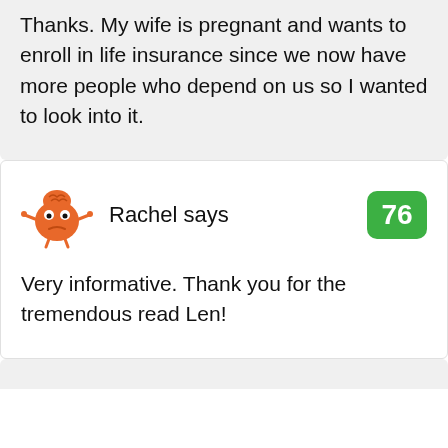Thanks. My wife is pregnant and wants to enroll in life insurance since we now have more people who depend on us so I wanted to look into it.
Rachel says
76
Very informative. Thank you for the tremendous read Len!